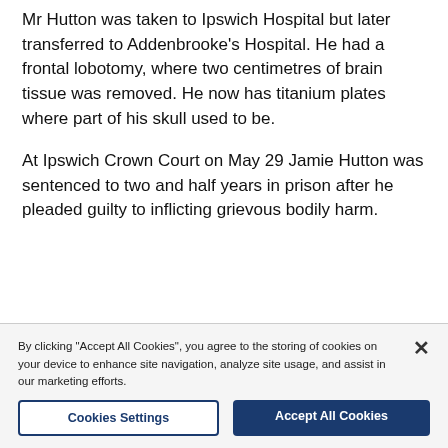Mr Hutton was taken to Ipswich Hospital but later transferred to Addenbrooke's Hospital. He had a frontal lobotomy, where two centimetres of brain tissue was removed. He now has titanium plates where part of his skull used to be.
At Ipswich Crown Court on May 29 Jamie Hutton was sentenced to two and half years in prison after he pleaded guilty to inflicting grievous bodily harm.
By clicking "Accept All Cookies", you agree to the storing of cookies on your device to enhance site navigation, analyze site usage, and assist in our marketing efforts.